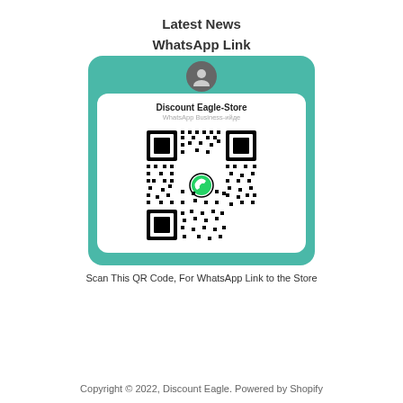Latest News
WhatsApp Link
[Figure (other): WhatsApp Business profile card with a QR code for Discount Eagle-Store, shown on a teal/green background. The card shows a grey avatar icon, the store name 'Discount Eagle-Store', subtitle 'WhatsApp Business-ийде', and a QR code with a WhatsApp logo in the center.]
Scan This QR Code, For WhatsApp Link to the Store
Copyright © 2022, Discount Eagle. Powered by Shopify